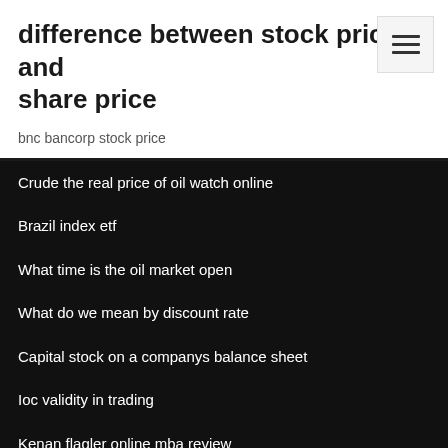difference between stock price and share price
bnc bancorp stock price
Crude the real price of oil watch online
Brazil index etf
What time is the oil market open
What do we mean by discount rate
Capital stock on a companys balance sheet
Ioc validity in trading
Kenan flagler online mba review
Calculate preferred stock yield